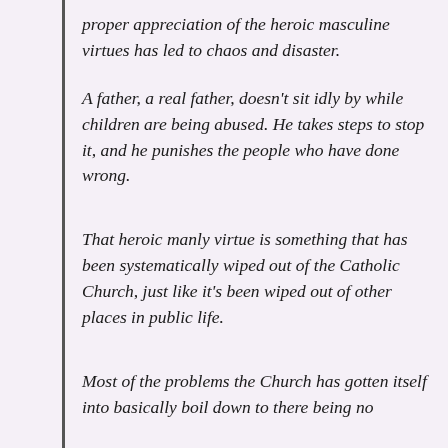proper appreciation of the heroic masculine virtues has led to chaos and disaster.
A father, a real father, doesn't sit idly by while children are being abused. He takes steps to stop it, and he punishes the people who have done wrong.
That heroic manly virtue is something that has been systematically wiped out of the Catholic Church, just like it's been wiped out of other places in public life.
Most of the problems the Church has gotten itself into basically boil down to there being no